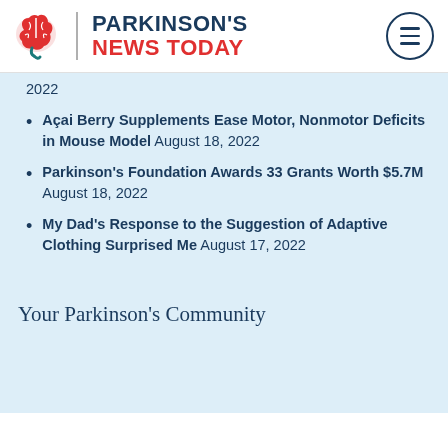PARKINSON'S NEWS TODAY
2022
Açai Berry Supplements Ease Motor, Nonmotor Deficits in Mouse Model August 18, 2022
Parkinson's Foundation Awards 33 Grants Worth $5.7M August 18, 2022
My Dad's Response to the Suggestion of Adaptive Clothing Surprised Me August 17, 2022
Your Parkinson's Community